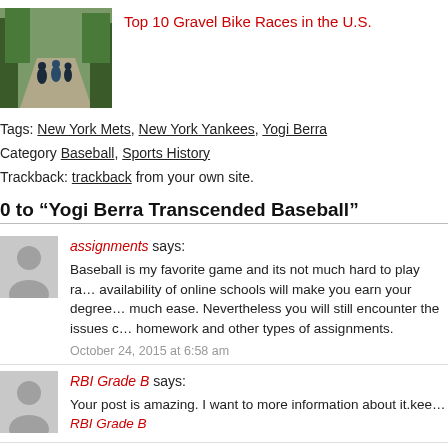[Figure (photo): Cyclists riding on a gravel road through a wooded area]
Top 10 Gravel Bike Races in the U.S.
Tags: New York Mets, New York Yankees, Yogi Berra
Category Baseball, Sports History
Trackback: trackback from your own site.
0 to “Yogi Berra Transcended Baseball”
assignments says:
Baseball is my favorite game and its not much hard to play ra... availability of online schools will make you earn your degree... much ease. Nevertheless you will still encounter the issues c... homework and other types of assignments.
October 24, 2015 at 6:58 am
RBI Grade B says:
Your post is amazing. I want to more information about it.kee...
RBI Grade B